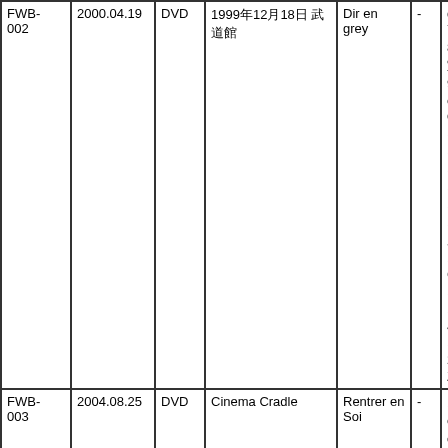| ID | Date | Type | Title | Artist |  | Tracks |
| --- | --- | --- | --- | --- | --- | --- |
| FWB-002 | 2000.04.19 | DVD | 1999年12月18日 武道館 | Dir en grey | - | detre
7　Ash
8　304号室、眞空へ
9　mazohyst of decadence
10　MASK
11　脈
12　予感
13　蜷局
14　かすみ
15　-I'll-
16　GARDEN
17　蜷局
18　JEALOUS
19　-I'll-
20　蜷局-ZAN- |
| FWB-003 | 2004.08.25 | DVD | Cinema Cradle | Rentrer en Soi | - | 1　The flow of time 〔in cradle〕
2　Sincerely
3　Re-birth
4　夢小説
5　Aqua
6　Fallen
7　a prelude |